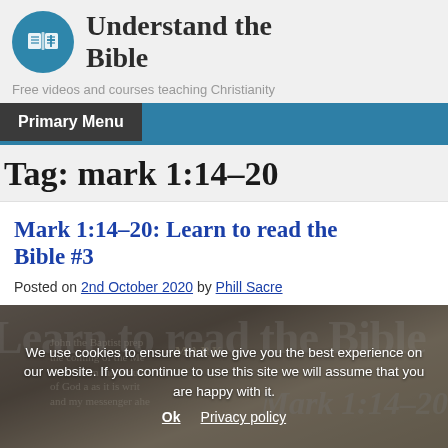Understand the Bible — Free videos and courses teaching Christianity
Primary Menu
Tag: mark 1:14-20
Mark 1:14-20: Learn to read the Bible #3
Posted on 2nd October 2020 by Phill Sacre
We use cookies to ensure that we give you the best experience on our website. If you continue to use this site we will assume that you are happy with it.
Ok   Privacy policy